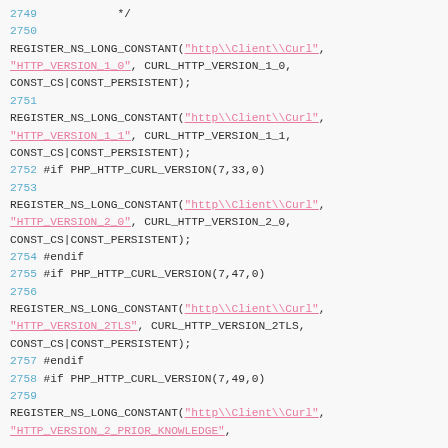Source code listing showing REGISTER_NS_LONG_CONSTANT calls for HTTP version constants (lines 2749-2759)